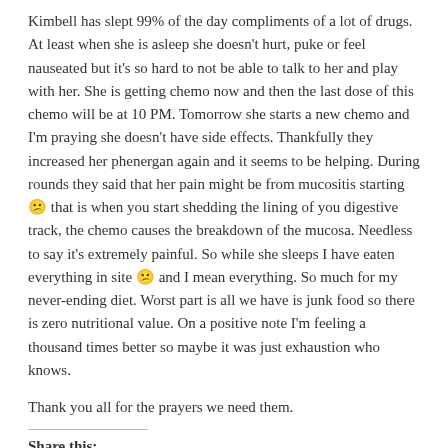Kimbell has slept 99% of the day compliments of a lot of drugs. At least when she is asleep she doesn't hurt, puke or feel nauseated but it's so hard to not be able to talk to her and play with her. She is getting chemo now and then the last dose of this chemo will be at 10 PM. Tomorrow she starts a new chemo and I'm praying she doesn't have side effects. Thankfully they increased her phenergan again and it seems to be helping. During rounds they said that her pain might be from mucositis starting 😕 that is when you start shedding the lining of you digestive track, the chemo causes the breakdown of the mucosa. Needless to say it's extremely painful. So while she sleeps I have eaten everything in site 😕 and I mean everything. So much for my never-ending diet. Worst part is all we have is junk food so there is zero nutritional value. On a positive note I'm feeling a thousand times better so maybe it was just exhaustion who knows.
Thank you all for the prayers we need them.
Share this:
Facebook  Twitter  Email  More
Like this: